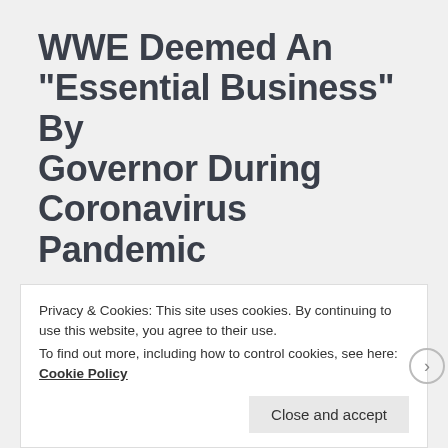WWE Deemed An “Essential Business” By Governor During Coronavirus Pandemic
The Mayor of Orange County, Florida confirmed WWE has been deemed an “essential business” during the coronavirus pandemic.
Privacy & Cookies: This site uses cookies. By continuing to use this website, you agree to their use.
To find out more, including how to control cookies, see here: Cookie Policy
Close and accept